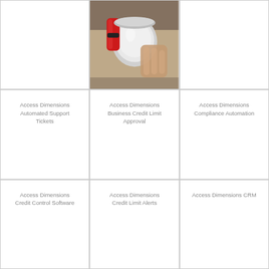[Figure (other): Empty cell, top-left]
[Figure (photo): Photo of a red and chrome espresso machine portafilter being handled]
[Figure (other): Empty cell, top-right]
Access Dimensions Automated Support Tickets
Access Dimensions Business Credit Limit Approval
Access Dimensions Compliance Automation
Access Dimensions Credit Control Software
Access Dimensions Credit Limit Alerts
Access Dimensions CRM